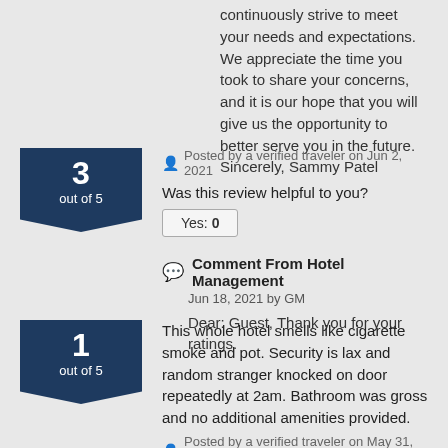continuously strive to meet your needs and expectations. We appreciate the time you took to share your concerns, and it is our hope that you will give us the opportunity to better serve you in the future. Sincerely, Sammy Patel
Posted by a verified traveler on Jun 2, 2021
Was this review helpful to you?
Yes: 0
Comment From Hotel Management
Jun 18, 2021 by GM
Dear: Guest, Thank you for your ratings.
This whole hotel smells like cigarette smoke and pot. Security is lax and random stranger knocked on door repeatedly at 2am. Bathroom was gross and no additional amenities provided.
Posted by a verified traveler on May 31, 2021
Was this review helpful to you?